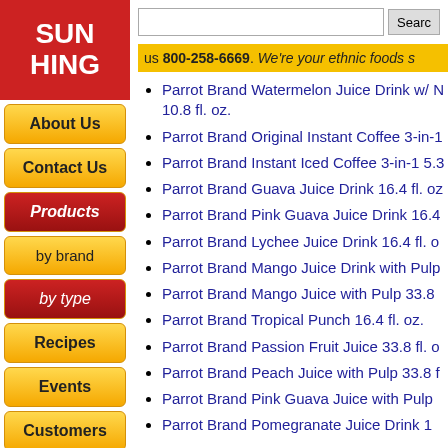[Figure (logo): Sun Hing logo - red rectangle with white bold text SUN HING in two lines]
us 800-258-6669. We're your ethnic foods s
Parrot Brand Watermelon Juice Drink w/ N 10.8 fl. oz.
Parrot Brand Original Instant Coffee 3-in-1
Parrot Brand Instant Iced Coffee 3-in-1 5.3
Parrot Brand Guava Juice Drink 16.4 fl. oz
Parrot Brand Pink Guava Juice Drink 16.4
Parrot Brand Lychee Juice Drink 16.4 fl. o
Parrot Brand Mango Juice Drink with Pulp
Parrot Brand Mango Juice with Pulp 33.8
Parrot Brand Tropical Punch 16.4 fl. oz.
Parrot Brand Passion Fruit Juice 33.8 fl. o
Parrot Brand Peach Juice with Pulp 33.8 f
Parrot Brand Pink Guava Juice with Pulp
Parrot Brand Pomegranate Juice Drink 1